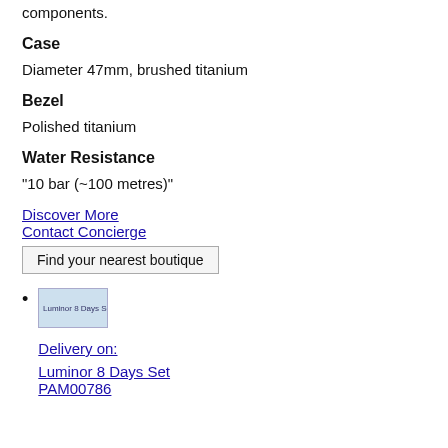components.
Case
Diameter 47mm, brushed titanium
Bezel
Polished titanium
Water Resistance
"10 bar (~100 metres)"
Discover More
Contact Concierge
Find your nearest boutique
Luminor 8 Days Set
Delivery on:
Luminor 8 Days Set
PAM00786